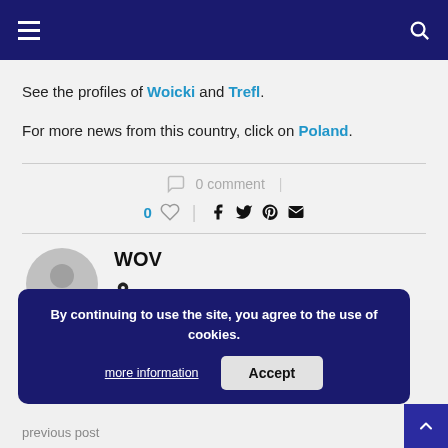Navigation bar with hamburger menu and search icon
See the profiles of Woicki and Trefl.
For more news from this country, click on Poland.
0 comment
0 likes, share icons: facebook, twitter, pinterest, email
WOV
By continuing to use the site, you agree to the use of cookies. more information | Accept
previous post